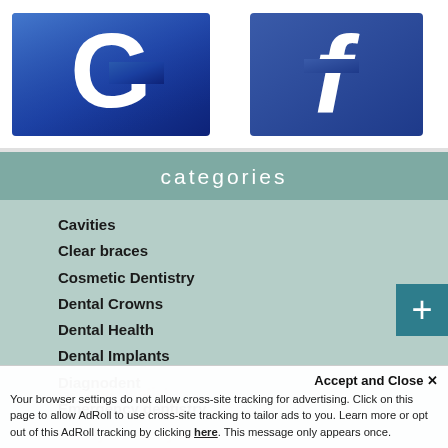[Figure (logo): Google 'G' logo icon — large white G letter on blue gradient square background with rounded corners and white border]
[Figure (logo): Facebook 'f' logo icon — white lowercase f on blue square background]
categories
Cavities
Clear braces
Cosmetic Dentistry
Dental Crowns
Dental Health
Dental Implants
Diagnodent
Emergency dentistry
Family Dentistry
General Dentistry
Accept and Close ✕
Your browser settings do not allow cross-site tracking for advertising. Click on this page to allow AdRoll to use cross-site tracking to tailor ads to you. Learn more or opt out of this AdRoll tracking by clicking here. This message only appears once.